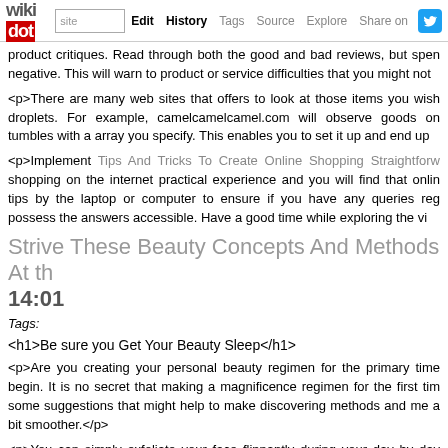wikidot | site Edit History Tags Source Explore Share on
product critiques. Read through both the good and bad reviews, but spen negative. This will warn to product or service difficulties that you might not
<p>There are many web sites that offers to look at those items you wish droplets. For example, camelcamelcamel.com will observe goods on tumbles with a array you specify. This enables you to set it up and end up
<p>Implement Tips And Tricks To Create Online Shopping Straightforw shopping on the internet practical experience and you will find that onlin tips by the laptop or computer to ensure if you have any queries reg possess the answers accessible. Have a good time while exploring the vi
Strive These Beauty Concepts And Methods At th 14:01
Tags:
<h1>Be sure you Get Your Beauty Sleep</h1>
<p>Are you creating your personal beauty regimen for the primary time begin. It is no secret that making a magnificence regimen for the first tim some suggestions that might help to make discovering methods and me a bit smoother.</p>
<p>You can simply exfoliate your face flippantly during your day by day terrycloth or wash rag. Things You should Avoid That will help you Look Y not hot, and only in case you are using the cloth for the first time. Never micro organism might build up overnight.</p>